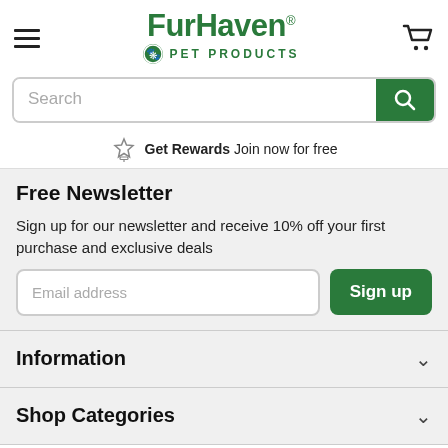[Figure (logo): FurHaven Pet Products logo with hamburger menu icon and shopping cart]
Search
Get Rewards Join now for free
Free Newsletter
Sign up for our newsletter and receive 10% off your first purchase and exclusive deals
Email address
Information
Shop Categories